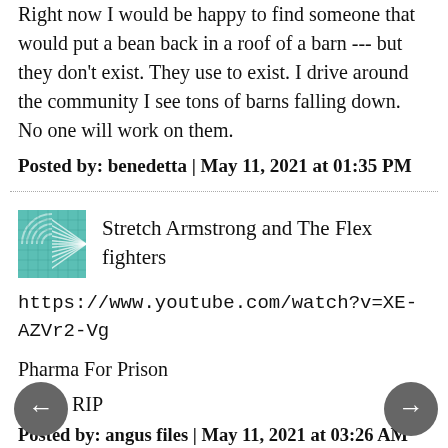Right now I would be happy to find someone that would put a bean back in a roof of a barn --- but they don't exist. They use to exist. I drive around the community I see tons of barns falling down.
No one will work on them.
Posted by: benedetta | May 11, 2021 at 01:35 PM
[Figure (illustration): Teal/green avatar image with circular wave pattern]
Stretch Armstrong and The Flex fighters
https://www.youtube.com/watch?v=XE-AZVr2-Vg
Pharma For Prison
MMR RIP
Posted by: angus files | May 11, 2021 at 03:26 AM